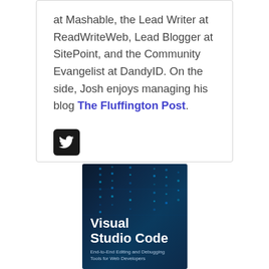at Mashable, the Lead Writer at ReadWriteWeb, Lead Blogger at SitePoint, and the Community Evangelist at DandyID. On the side, Josh enjoys managing his blog The Fluffington Post.
[Figure (illustration): Twitter social media icon button — white bird logo on black rounded square background]
[Figure (photo): Book cover for 'Visual Studio Code: End-to-End Editing and Debugging Tools for Web Developers' — dark blue background with glowing blue dot-matrix patterns and white bold text]